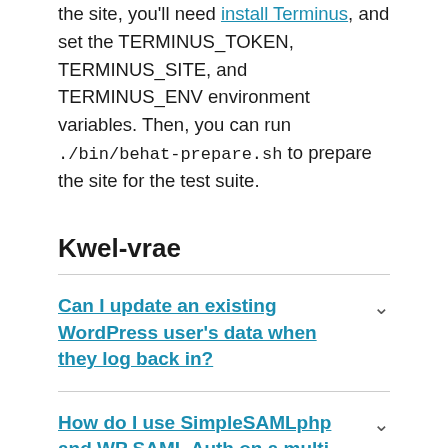the site, you'll need install Terminus, and set the TERMINUS_TOKEN, TERMINUS_SITE, and TERMINUS_ENV environment variables. Then, you can run ./bin/behat-prepare.sh to prepare the site for the test suite.
Kwel-vrae
Can I update an existing WordPress user's data when they log back in?
How do I use SimpleSAMLphp and WP SAML Auth on a multi web node environment?
Contributors & Developers